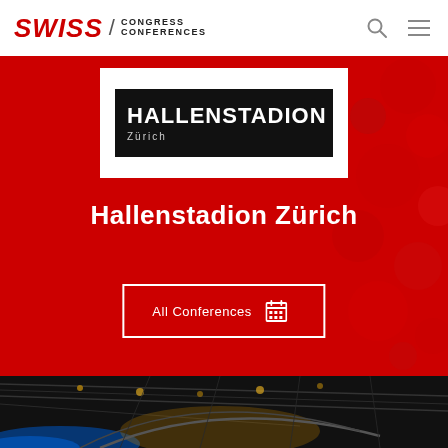SWISS / CONGRESS CONFERENCES
[Figure (logo): Hallenstadion Zürich logo — white text on black background inside a white card on a red background]
Hallenstadion Zürich
All Conferences
[Figure (photo): Interior photograph of the Hallenstadion Zürich arena showing the ceiling structure, hanging lights, and stage lighting in blue and yellow]